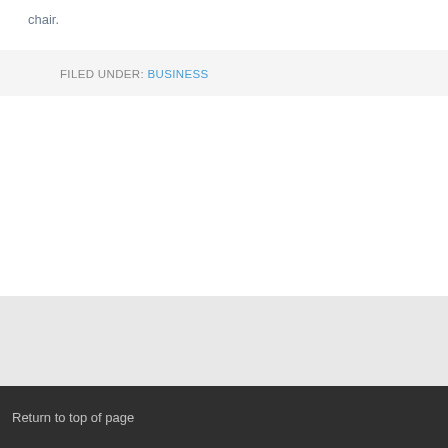chair.
FILED UNDER: BUSINESS
Return to top of page